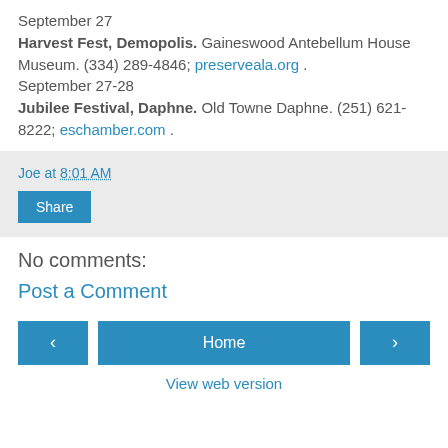September 27
Harvest Fest, Demopolis. Gaineswood Antebellum House Museum. (334) 289-4846; preserveala.org .
September 27-28
Jubilee Festival, Daphne. Old Towne Daphne. (251) 621-8222; eschamber.com .
Joe at 8:01 AM
Share
No comments:
Post a Comment
< Home > View web version